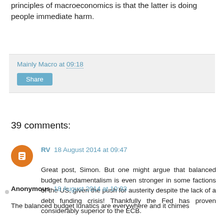principles of macroeconomics is that the latter is doing people immediate harm.
Mainly Macro at 09:18
Share
39 comments:
RV 18 August 2014 at 09:47
Great post, Simon. But one might argue that balanced budget fundamentalism is even stronger in some factions of the US, given the push for austerity despite the lack of a debt funding crisis! Thankfully the Fed has proven considerably superior to the ECB.
Reply
Anonymous 18 August 2014 at 10:33
The balanced budget lunatics are everywhere and it chimes